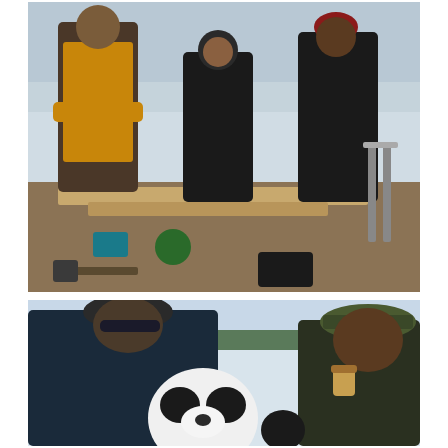[Figure (photo): Outdoor winter scene with three people standing behind a table covered with wooden boards, tools, and various items. A lake or frozen water body is visible in the background. One person wears a yellow apron, the middle person is in black, and the third wears a red hat.]
[Figure (photo): Winter outdoor scene on a frozen lake. Two people are leaning over examining something. One person on the left wears a dark jacket and beanie hat, and the other on the right wears a camouflage hat. Between them is a panda stuffed animal or helmet. A jar is visible in the background on the ice.]